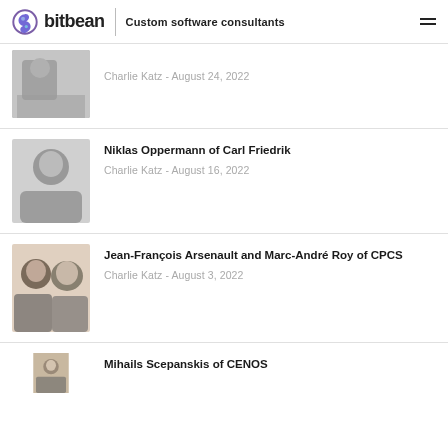bitbean | Custom software consultants
Charlie Katz - August 24, 2022
Niklas Oppermann of Carl Friedrik
Charlie Katz - August 16, 2022
Jean-François Arsenault and Marc-André Roy of CPCS
Charlie Katz - August 3, 2022
Mihails Scepanskis of CENOS